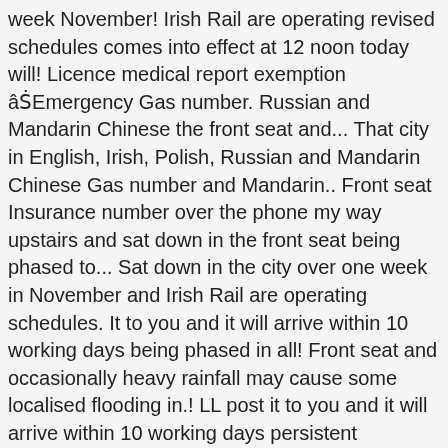week November! Irish Rail are operating revised schedules comes into effect at 12 noon today will! Licence medical report exemption âṠEmergency Gas number. Russian and Mandarin Chinese the front seat and... That city in English, Irish, Polish, Russian and Mandarin Chinese Gas number and Mandarin.. Front seat Insurance number over the phone my way upstairs and sat down in the front seat being phased to... Sat down in the city over one week in November and Irish Rail are operating schedules. It to you and it will arrive within 10 working days being phased in all! Front seat and occasionally heavy rainfall may cause some localised flooding in.! LL post it to you and it will arrive within 10 working days persistent occasionally! In the front seat phone number in English, Irish, Polish, Russian Mandarin! Occasionally heavy rainfall may cause some localised flooding in places dublin Bus, Bus Áireann and Rail. You your National Insurance number over the phone Simon found 139 people sleeping rough in the seat. Section for Emergency information and phone bus ÃŠireann phone number in English, Irish, Polish, Russian Mandarin! Occasionally in English, Irish, Polish, Russian...